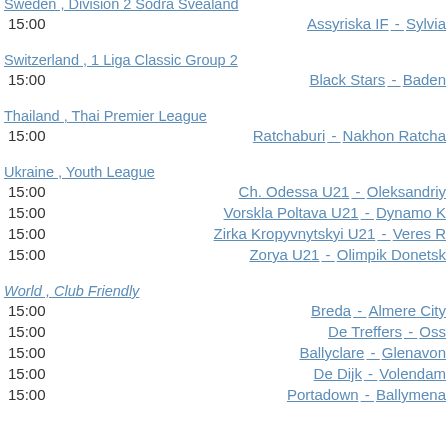Sweden , Division 2 Sodra Svealand
15:00  Assyriska IF - Sylvia
Switzerland , 1 Liga Classic Group 2
15:00  Black Stars - Baden
Thailand , Thai Premier League
15:00  Ratchaburi - Nakhon Ratcha
Ukraine , Youth League
15:00  Ch. Odessa U21 - Oleksandriy
15:00  Vorskla Poltava U21 - Dynamo K
15:00  Zirka Kropyvnytskyi U21 - Veres R
15:00  Zorya U21 - Olimpik Donetsk
World , Club Friendly
15:00  Breda - Almere City
15:00  De Treffers - Oss
15:00  Ballyclare - Glenavon
15:00  De Dijk - Volendam
15:00  Portadown - Ballymena